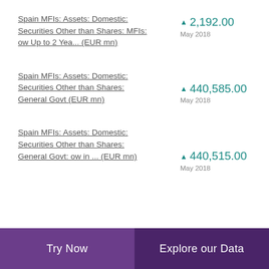Spain MFIs: Assets: Domestic: Securities Other than Shares: MFIs: ow Up to 2 Yea... (EUR mn)
Spain MFIs: Assets: Domestic: Securities Other than Shares: General Govt (EUR mn)
Spain MFIs: Assets: Domestic: Securities Other than Shares: General Govt: ow in ... (EUR mn)
Try Now | Explore our Data